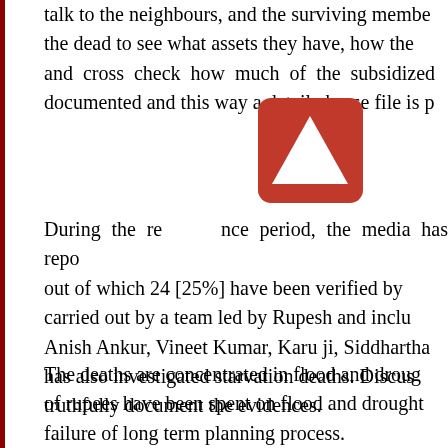talk to the neighbours, and the surviving members of the dead to see what assets they have, how the and cross check how much of the subsidized documented and this way a detailed case file is p
[Figure (other): Red rounded square icon with white upward-pointing triangle/arrow in center]
During the reference period, the media has repo out of which 24 [25%] have been verified by carried out by a team led by Rupesh and inclu Anish Ankur, Vineet Kumar, Karu ji, Siddhartha has also investigated starvation deaths. Discus truthfully document the evidences.
The deaths are concentrated in flood and drough of rupees have been spent on flood and drought failure of long term planning process.